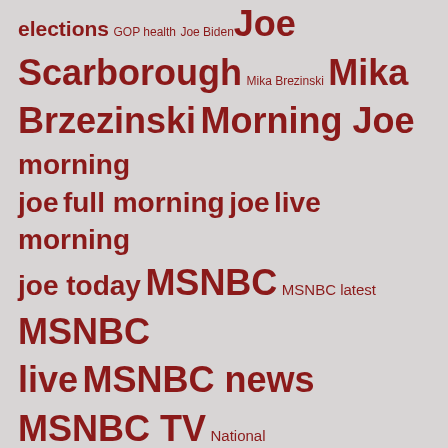[Figure (infographic): Tag cloud with terms related to MSNBC and political news, displayed in various font sizes in dark red/maroon color on a gray background. Terms include: elections, GOP health, Joe Biden, Joe Scarborough, Mika Brezinski, Mika Brzezinski, Morning Joe, morning joe, full morning joe, live morning joe today, MSNBC, MSNBC latest, MSNBC live, MSNBC news, MSNBC TV, National Security, news, political news, politics, politics news, president biden, President Trump, Republicans, Russia, trump, Ukraine, us news, Vladimir Putin, White House, Willie Geist]
META
Log in
Entries feed
Comments feed